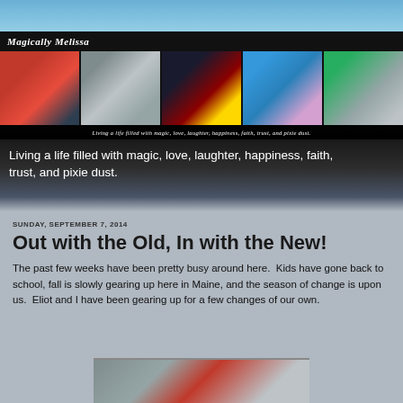Magically Melissa
[Figure (photo): Five-panel photo strip showing Disney-themed images: Minnie Mouse with a person in red dress, a castle with couple, a bride in a dark hallway, Dumbo ride, and two people outdoors]
Living a life filled with magic, love, laughter, happiness, faith, trust, and pixie dust.
Living a life filled with magic, love, laughter, happiness, faith, trust, and pixie dust.
SUNDAY, SEPTEMBER 7, 2014
Out with the Old, In with the New!
The past few weeks have been pretty busy around here.  Kids have gone back to school, fall is slowly gearing up here in Maine, and the season of change is upon us.  Eliot and I have been gearing up for a few changes of our own.
[Figure (photo): Partial bottom image strip showing what appears to be a Disney-related outdoor scene]